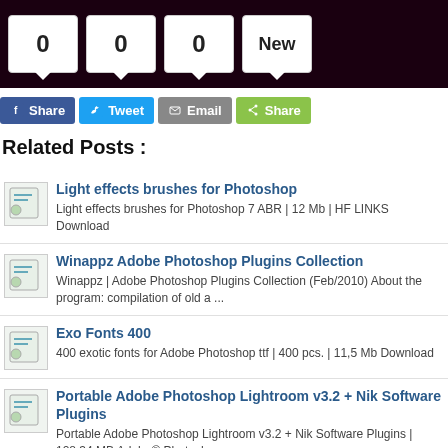[Figure (screenshot): Top dark bar with counter boxes showing 0, 0, 0, New]
[Figure (screenshot): Social share buttons: Facebook Share, Tweet, Email, Share]
Related Posts :
Light effects brushes for Photoshop — Light effects brushes for Photoshop 7 ABR | 12 Mb | HF LINKS Download
Winappz Adobe Photoshop Plugins Collection — Winappz | Adobe Photoshop Plugins Collection (Feb/2010) About the program: compilation of old a ...
Exo Fonts 400 — 400 exotic fonts for Adobe Photoshop ttf | 400 pcs. | 11,5 Mb Download
Portable Adobe Photoshop Lightroom v3.2 + Nik Software Plugins — Portable Adobe Photoshop Lightroom v3.2 + Nik Software Plugins | 128.34 MB Adobe® Photoshop ...